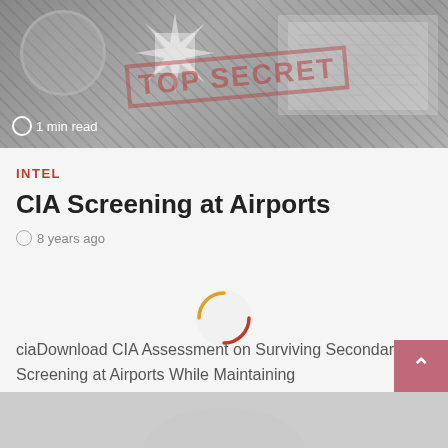[Figure (photo): Dark grayscale image showing a CIA seal and a top secret stamp overlay with document papers in the background. Text '1 min read' visible in lower left.]
INTEL
CIA Screening at Airports
8 years ago
ciaDownload CIA Assessment on Surviving Secondary Screening at Airports While Maintaining CoverUSAHackers release: This is a secret document produced by...